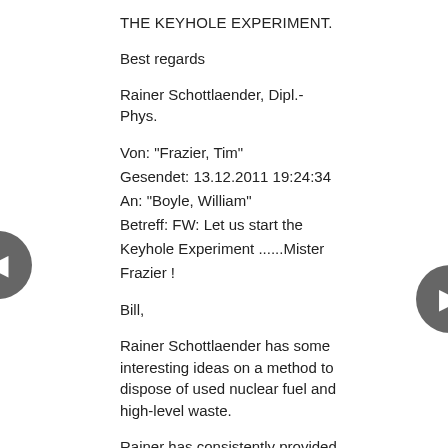THE KEYHOLE EXPERIMENT.
Best regards
Rainer Schottlaender, Dipl.-Phys.
Von: "Frazier, Tim"
Gesendet: 13.12.2011 19:24:34
An: "Boyle, William"
Betreff: FW: Let us start the Keyhole Experiment ......Mister Frazier !
Bill,
Rainer Schottlaender has some interesting ideas on a method to dispose of used nuclear fuel and high-level waste.
Rainer has consistently provided his comments and his ideas to the